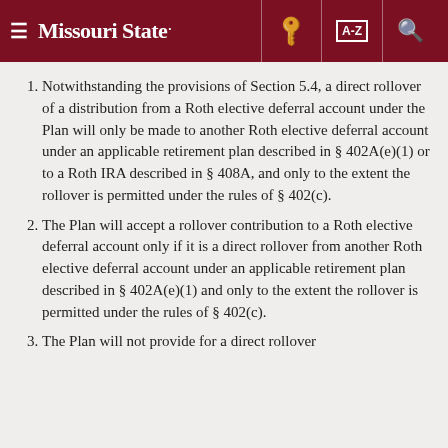Missouri State
Notwithstanding the provisions of Section 5.4, a direct rollover of a distribution from a Roth elective deferral account under the Plan will only be made to another Roth elective deferral account under an applicable retirement plan described in § 402A(e)(1) or to a Roth IRA described in § 408A, and only to the extent the rollover is permitted under the rules of § 402(c).
The Plan will accept a rollover contribution to a Roth elective deferral account only if it is a direct rollover from another Roth elective deferral account under an applicable retirement plan described in § 402A(e)(1) and only to the extent the rollover is permitted under the rules of § 402(c).
The Plan will not provide for a direct rollover